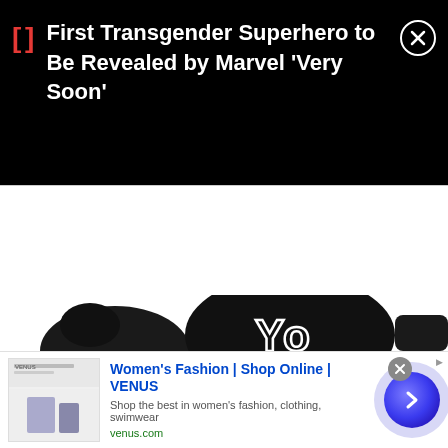[Figure (screenshot): Mobile notification banner with black background showing text: First Transgender Superhero to Be Revealed by Marvel 'Very Soon', with a red bracket icon on the left and a circular close (X) button on the right]
[Figure (photo): Partial view of black boxing gloves with white lettering 'You' visible, against a white background]
[Figure (screenshot): Online advertisement for Women's Fashion | Shop Online | VENUS with thumbnail image, blue title text, gray description 'Shop the best in women's fashion, clothing, swimwear', green URL 'venus.com', close button, and a blue/purple circular CTA button with right arrow]